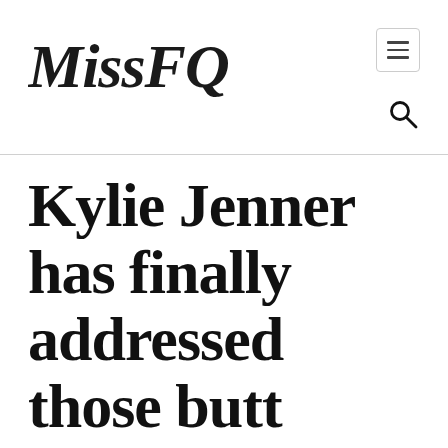MissFQ
Kylie Jenner has finally addressed those butt implant